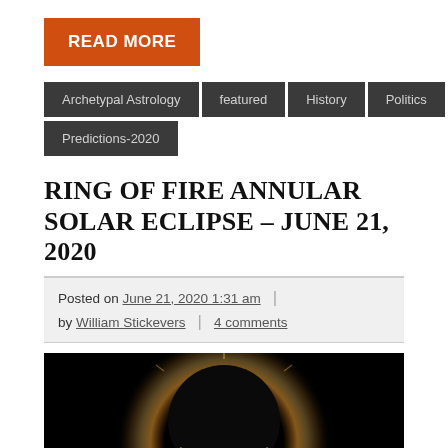READ MORE
Archetypal Astrology
featured
History
Politics
Predictions-2020
RING OF FIRE ANNULAR SOLAR ECLIPSE – JUNE 21, 2020
Posted on June 21, 2020 1:31 am | by William Stickevers | 4 comments
[Figure (photo): Annular solar eclipse (ring of fire) photo showing a dark moon silhouette with a bright glowing ring of light around it against a black sky]